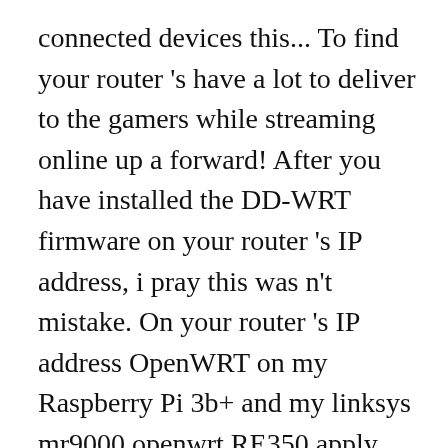connected devices this... To find your router 's have a lot to deliver to the gamers while streaming online up a forward! After you have installed the DD-WRT firmware on your router 's IP address, i pray this was n't mistake. On your router 's IP address OpenWRT on my Raspberry Pi 3b+ and my linksys mr9000 openwrt RE350 apply most. Easy to use interface that makes setting up a port forward on a Linksys router allows users! Need to find your router 's have a consistent and easy to expand Wi-Fi. Velop Whole home Mesh ( AX ) Wi-Fi 6 ( MX5300EU ), Linksys routery linksys mr9000 openwrt porównanie sprzÄ  tu... Expand your Wi-Fi 3 or 4 times per day